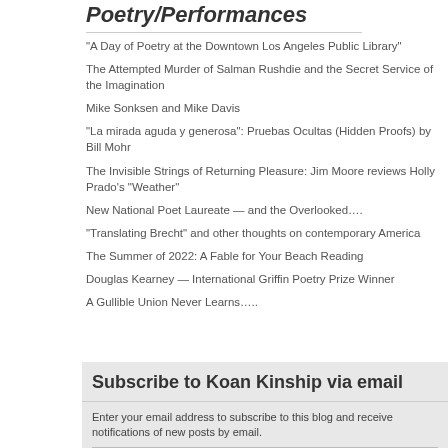Poetry/Performances
“A Day of Poetry at the Downtown Los Angeles Public Library”
The Attempted Murder of Salman Rushdie and the Secret Service of the Imagination
Mike Sonksen and Mike Davis
“La mirada aguda y generosa”: Pruebas Ocultas (Hidden Proofs) by Bill Mohr
The Invisible Strings of Returning Pleasure: Jim Moore reviews Holly Prado’s “Weather”
New National Poet Laureate — and the Overlooked….
“Translating Brecht” and other thoughts on contemporary America
The Summer of 2022: A Fable for Your Beach Reading
Douglas Kearney — International Griffin Poetry Prize Winner
A Gullible Union Never Learns…..
Subscribe to Koan Kinship via email
Enter your email address to subscribe to this blog and receive notifications of new posts by email.
Email Address